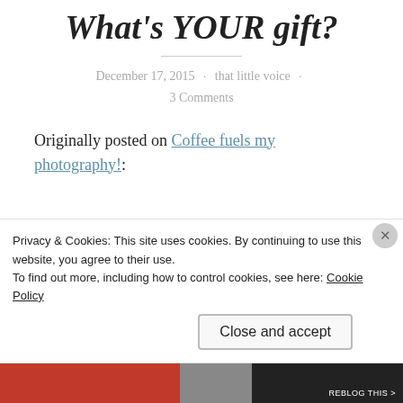What's YOUR gift?
December 17, 2015 · that little voice · 3 Comments
Originally posted on Coffee fuels my photography!:
Please share this post with your friends
Privacy & Cookies: This site uses cookies. By continuing to use this website, you agree to their use.
To find out more, including how to control cookies, see here: Cookie Policy
Close and accept